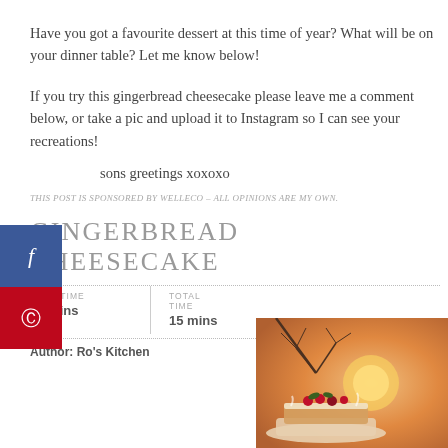Have you got a favourite dessert at this time of year? What will be on your dinner table? Let me know below!
If you try this gingerbread cheesecake please leave me a comment below, or take a pic and upload it to Instagram so I can see your recreations!
[Figure (other): Social media share buttons: Facebook (blue) and Pinterest (red) sidebar buttons on the left edge]
sons greetings xoxoxo
THIS POST IS SPONSORED BY WELLECO – ALL OPINIONS ARE MY OWN.
GINGERBREAD CHEESECAKE
| PREP TIME | TOTAL TIME |
| --- | --- |
| 15 mins | 15 mins |
Author: Ro's Kitchen
[Figure (photo): Photo of gingerbread cheesecake with berries and decorations, warm orange/sunset tones in background]